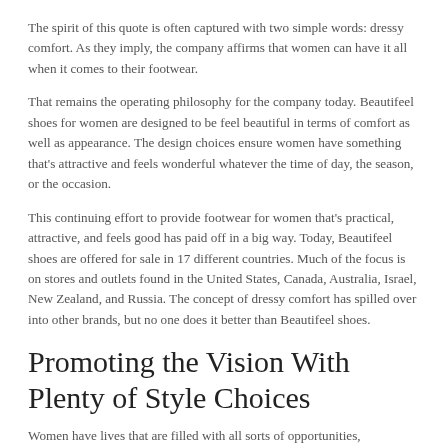The spirit of this quote is often captured with two simple words: dressy comfort. As they imply, the company affirms that women can have it all when it comes to their footwear.
That remains the operating philosophy for the company today. Beautifeel shoes for women are designed to be feel beautiful in terms of comfort as well as appearance. The design choices ensure women have something that's attractive and feels wonderful whatever the time of day, the season, or the occasion.
This continuing effort to provide footwear for women that's practical, attractive, and feels good has paid off in a big way. Today, Beautifeel shoes are offered for sale in 17 different countries. Much of the focus is on stores and outlets found in the United States, Canada, Australia, Israel, New Zealand, and Russia. The concept of dressy comfort has spilled over into other brands, but no one does it better than Beautifeel shoes.
Promoting the Vision With Plenty of Style Choices
Women have lives that are filled with all sorts of opportunities,